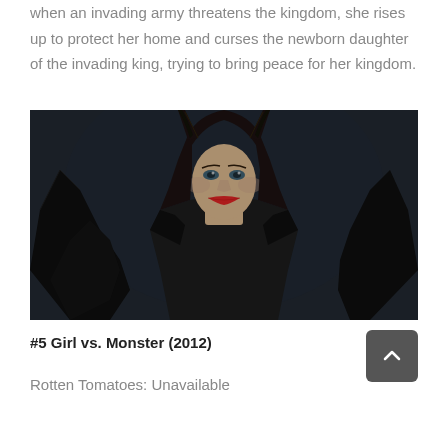when an invading army threatens the kingdom, she rises up to protect her home and curses the newborn daughter of the invading king, trying to bring peace for her kingdom.
[Figure (photo): A woman dressed as Maleficent with large black horns and dark wings, wearing dark clothing, with red lips and intense gaze, set against a dark forest background.]
#5 Girl vs. Monster (2012)
Rotten Tomatoes: Unavailable